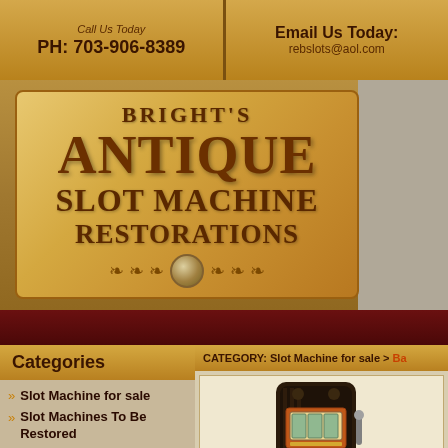Call Us Today PH: 703-906-8389 | Email Us Today: rebslots@aol.com
[Figure (logo): Bright's Antique Slot Machine Restorations logo on wood-grain background with decorative coin and ornaments]
Categories
CATEGORY: Slot Machine for sale > Ba...
Slot Machine for sale
Slot Machines To Be Restored
Examples of Previous Restorations
Other Antique Items
[Figure (photo): Antique slot machine for sale, dark brown/black cabinet with orange and gold front panel]